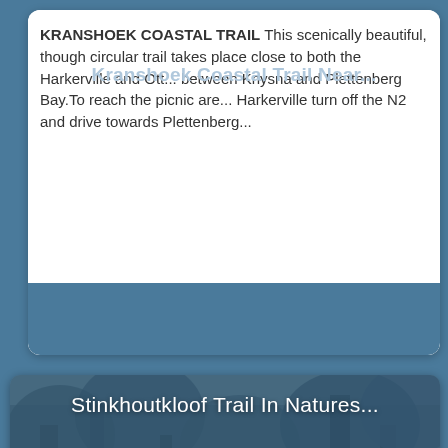KRANSHOEK COASTAL TRAIL This scenically beautiful, though circular trail takes place close to both the Harkerville and Ott... between Knysna and Plettenberg Bay. To reach the picnic are... Harkerville turn off the N2 and drive towards Plettenberg...
Kranshoek Coastal Trail Near...
[Figure (photo): Two hikers walking on a forested trail, viewed from behind. The scene is tinted with a blue overlay. Dense ferns and trees surround the rocky path.]
Stinkhoutkloof Trail In Natures...